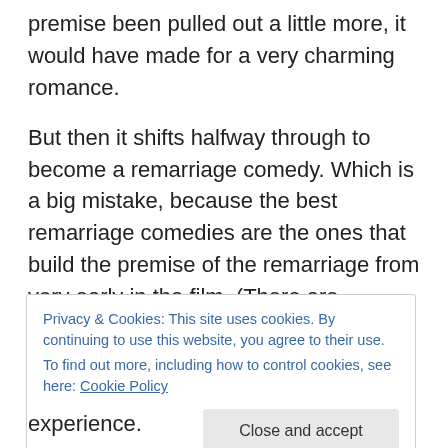premise been pulled out a little more, it would have made for a very charming romance.
But then it shifts halfway through to become a remarriage comedy. Which is a big mistake, because the best remarriage comedies are the ones that build the premise of the remarriage from very early in the film. (There are exceptions to this of course, like Sturges' The Lady Eve.) This remarriage comedy falls flat on its face because it's given very little time to breathe or develop. This whole aspect of the film feels very rushed.
Privacy & Cookies: This site uses cookies. By continuing to use this website, you agree to their use.
To find out more, including how to control cookies, see here: Cookie Policy
Close and accept
experience.